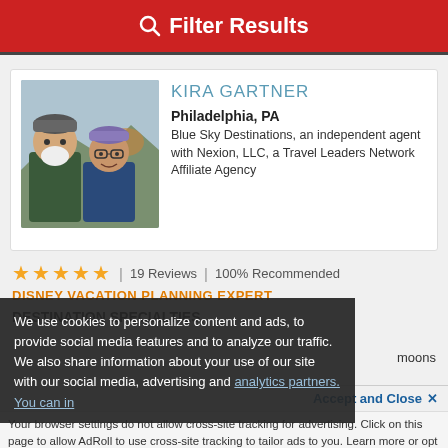Filter Results
KIRA GARTNER
Philadelphia, PA
Blue Sky Destinations, an independent agent with Nexion, LLC, a Travel Leaders Network Affiliate Agency
★★★★★ | 19 Reviews | 100% Recommended
DISNEY VACATION PLANNING EXPERT
DESTINATION SPECIALTIES
We use cookies to personalize content and ads, to provide social media features and to analyze our traffic. We also share information about your use of our site with our social media, advertising and analytics partners. You can in...
moons
Accept and Close ✕
Your browser settings do not allow cross-site tracking for advertising. Click on this page to allow AdRoll to use cross-site tracking to tailor ads to you. Learn more or opt out of this AdRoll tracking by clicking here. This message only appears once.